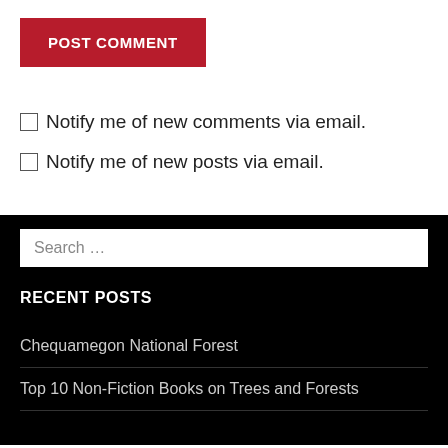POST COMMENT
Notify me of new comments via email.
Notify me of new posts via email.
Search …
RECENT POSTS
Chequamegon National Forest
Top 10 Non-Fiction Books on Trees and Forests